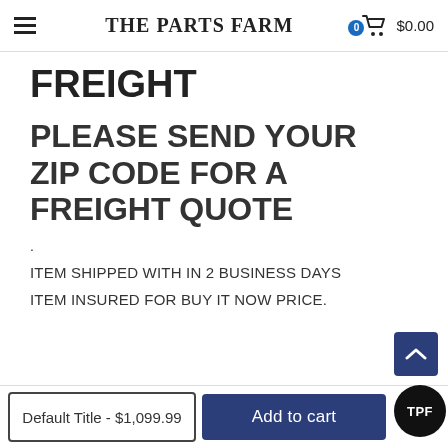THE PARTS FARM — $0.00
FREIGHT
PLEASE SEND YOUR ZIP CODE FOR A FREIGHT QUOTE
.
ITEM SHIPPED WITH IN 2 BUSINESS DAYS
ITEM INSURED FOR BUY IT NOW PRICE.
Default Title - $1,099.99
Add to cart